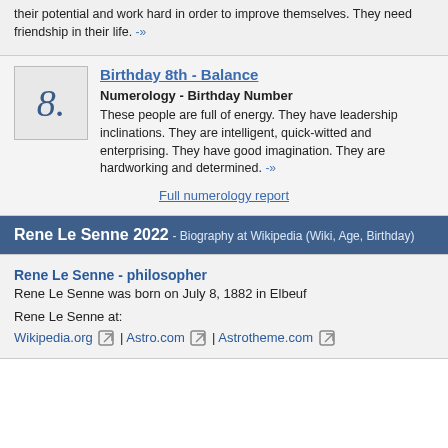their potential and work hard in order to improve themselves. They need friendship in their life. -»
Birthday 8th - Balance
Numerology - Birthday Number
These people are full of energy. They have leadership inclinations. They are intelligent, quick-witted and enterprising. They have good imagination. They are hardworking and determined. -»
Full numerology report
Rene Le Senne 2022 - Biography at Wikipedia (Wiki, Age, Birthday)
Rene Le Senne - philosopher
Rene Le Senne was born on July 8, 1882 in Elbeuf
Rene Le Senne at:
Wikipedia.org | Astro.com | Astrotheme.com